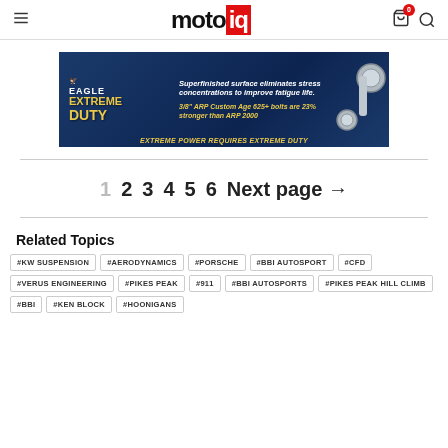motoiq
[Figure (photo): Eagle Extreme Duty connecting rod advertisement banner. Blue background with eagle graphic. Text: 'Superfinished surface eliminates stress concentrations to improve fatigue life. 3/8" ARP Custom Age 625+ bolts are 23% stronger than ARP 2000. EXTREME POWER requires EXTREME DUTY']
1  2  3  4  5  6  Next page →
Related Topics
#KW SUSPENSION
#AERODYNAMICS
#PORSCHE
#BBI AUTOSPORT
#CFD
#VERUS ENGINEERING
#PIKES PEAK
#911
#BBI AUTOSPORTS
#PIKES PEAK HILL CLIMB
#BBI
#KEN BLOCK
#HOONIGANS